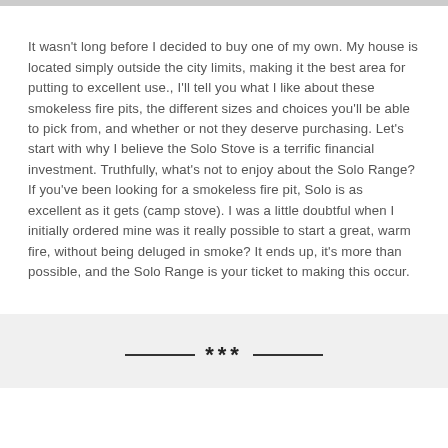It wasn't long before I decided to buy one of my own. My house is located simply outside the city limits, making it the best area for putting to excellent use., I'll tell you what I like about these smokeless fire pits, the different sizes and choices you'll be able to pick from, and whether or not they deserve purchasing. Let's start with why I believe the Solo Stove is a terrific financial investment. Truthfully, what's not to enjoy about the Solo Range? If you've been looking for a smokeless fire pit, Solo is as excellent as it gets (camp stove). I was a little doubtful when I initially ordered mine was it really possible to start a great, warm fire, without being deluged in smoke? It ends up, it's more than possible, and the Solo Range is your ticket to making this occur.
***